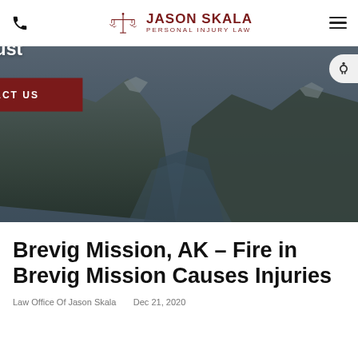Jason Skala Personal Injury Law — navigation header with phone icon and hamburger menu
[Figure (screenshot): Hero banner with scenic Alaska mountain and fjord landscape photo overlaid with dark tint. Contains headline text 'Turn to an Attorney that You Can Trust' and a dark red 'CONTACT US' button. Accessibility button visible at top right.]
Brevig Mission, AK – Fire in Brevig Mission Causes Injuries
Law Office Of Jason Skala     Dec 21, 2020